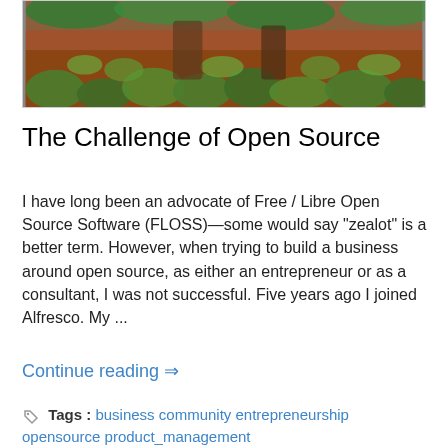[Figure (photo): Photograph of a forested hillside with red soil, green ferns and vegetation, and tree trunks.]
The Challenge of Open Source
I have long been an advocate of Free / Libre Open Source Software (FLOSS)—some would say "zealot" is a better term. However, when trying to build a business around open source, as either an entrepreneur or as a consultant, I was not successful. Five years ago I joined Alfresco. My ...
Continue reading ⇒
Tags : business community entrepreneurship opensource product_management